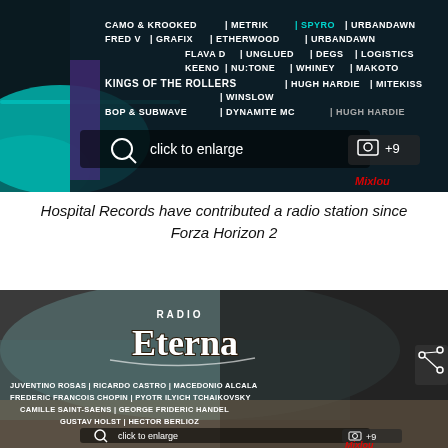[Figure (screenshot): Radio station lineup graphic with dark background showing artist names: CAMO & KROOKED, METRIK, SPYRO, URBANDAWN, FRED V, GRAFIX, ETHERWOOD, KINGS OF THE ROLLERS, FLAVA D, UNGLUED, DEGS, LOGISTICS, KEENO, NU:TONE, WHINEY, MAKOTO, KINGS OF THE ROLLERS, HUGH HARDIE, MITEKISS, WINSLOW, BOP & SUBWAVE, DYNAMITE MC. Overlaid with 'click to enlarge' button and '+9' photo indicator. Mixlou watermark visible.]
Hospital Records have contributed a radio station since Forza Horizon 2
[Figure (screenshot): Radio Eterna station graphic showing a car interior/exterior with the Radio Eterna logo. Artist names listed: JUVENTINO ROSAS, RICARDO CASTRO, MACEDONIO ALCALA, FREDERIC FRANCOIS CHOPIN, PYOTR ILYICH TCHAIKOVSKY, CAMILLE SAINT-SAENS, GEORGE FRIDERIC HANDEL, GUSTAV HOLST, HECTOR BERLIOZ. Overlaid with 'click to enlarge' button and '+9' photo indicator. Mixlou watermark visible.]